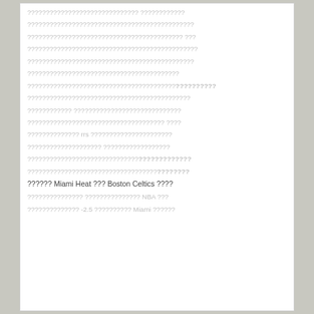[corrupted/unreadable text content with mixed readable segments including: Miami Heat, Boston Celtics, NBA, rrs, -2.5, Miami]